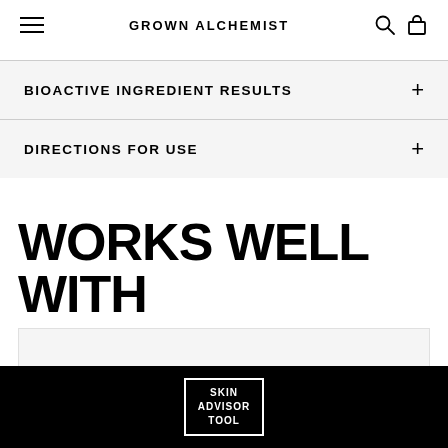GROWN ALCHEMIST
BIOACTIVE INGREDIENT RESULTS
DIRECTIONS FOR USE
WORKS WELL WITH
[Figure (other): Light grey product strip area below Works Well With heading]
SKIN ADVISOR TOOL